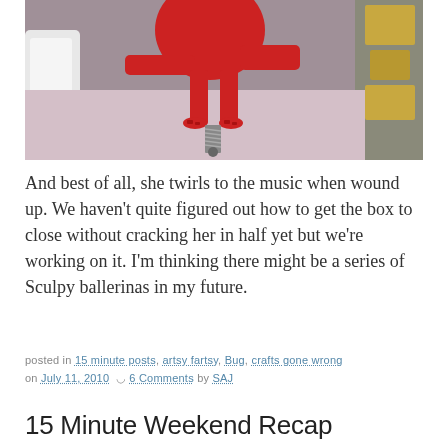[Figure (photo): Close-up photo of a red Sculpy ballerina figurine being placed into a music box, showing the figurine's feet on a spring mechanism with a gold hinge visible on the right side, pink surface below.]
And best of all, she twirls to the music when wound up. We haven't quite figured out how to get the box to close without cracking her in half yet but we're working on it. I'm thinking there might be a series of Sculpy ballerinas in my future.
posted in 15 minute posts, artsy fartsy, Bug, crafts gone wrong on July 11, 2010  6 Comments by SAJ
15 Minute Weekend Recap